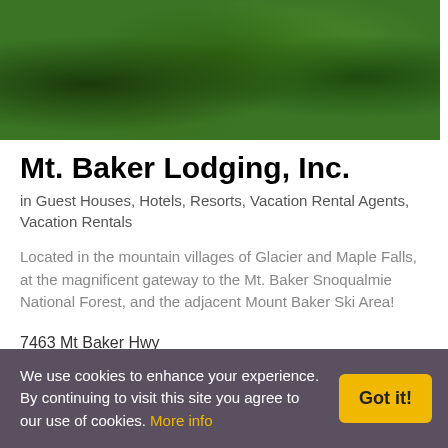[Figure (photo): Aerial photograph of dense green forest canopy, mountain woodland scene]
Mt. Baker Lodging, Inc.
in Guest Houses, Hotels, Resorts, Vacation Rental Agents, Vacation Rentals
Located in the mountain villages of Glacier and Maple Falls, at the magnificent gateway to the Mt. Baker Snoqualmie National Forest, and the adjacent Mount Baker Ski Area!
7463 Mt Baker Hwy
Glacier, Washington 98244
Bookmark this | Send E-mail
We use cookies to enhance your experience. By continuing to visit this site you agree to our use of cookies. More info